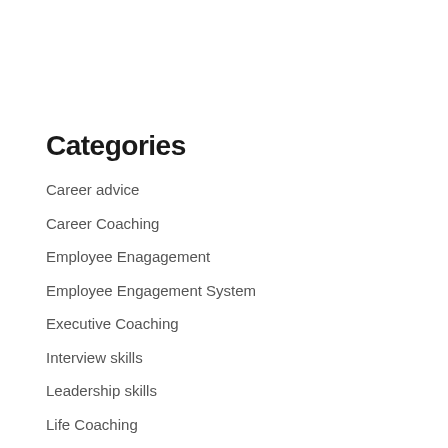Categories
Career advice
Career Coaching
Employee Enagagement
Employee Engagement System
Executive Coaching
Interview skills
Leadership skills
Life Coaching
Management Consulting
Misc